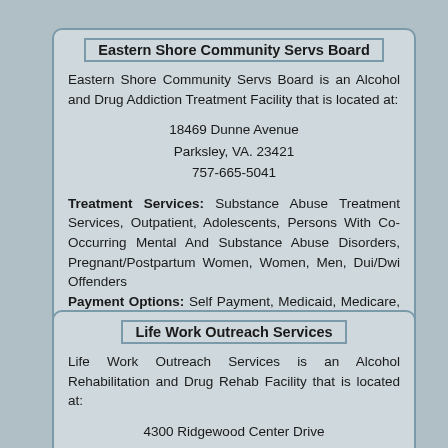Eastern Shore Community Servs Board
Eastern Shore Community Servs Board is an Alcohol and Drug Addiction Treatment Facility that is located at:
18469 Dunne Avenue
Parksley, VA. 23421
757-665-5041
Treatment Services: Substance Abuse Treatment Services, Outpatient, Adolescents, Persons With Co-Occurring Mental And Substance Abuse Disorders, Pregnant/Postpartum Women, Women, Men, Dui/Dwi Offenders Payment Options: Self Payment, Medicaid, Medicare, Private Health Insurance, Sliding Fee Scale (Fee Is Based On Income And Other Factors)
Life Work Outreach Services
Life Work Outreach Services is an Alcohol Rehabilitation and Drug Rehab Facility that is located at:
4300 Ridgewood Center Drive
Woodbridge, VA. 22192
703-580-7210
Treatment Services: Outpatient, Spanish, Native American